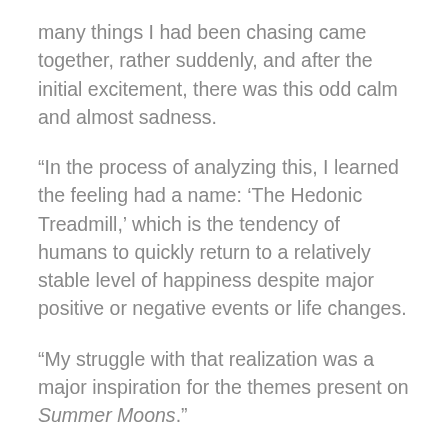many things I had been chasing came together, rather suddenly, and after the initial excitement, there was this odd calm and almost sadness.
“In the process of analyzing this, I learned the feeling had a name: ‘The Hedonic Treadmill,’ which is the tendency of humans to quickly return to a relatively stable level of happiness despite major positive or negative events or life changes.
“My struggle with that realization was a major inspiration for the themes present on Summer Moons.”
The songs across Summer Moons are ever-present in their dedication to